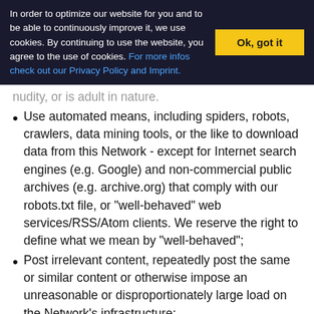In order to optimize our website for you and to be able to continuously improve it, we use cookies. By continuing to use the website, you agree to the use of cookies. For more infos check out our Privacy Policy and Imprint.
nudity, or is adult in nature.
Use automated means, including spiders, robots, crawlers, data mining tools, or the like to download data from this Network - except for Internet search engines (e.g. Google) and non-commercial public archives (e.g. archive.org) that comply with our robots.txt file, or "well-behaved" web services/RSS/Atom clients. We reserve the right to define what we mean by "well-behaved";
Post irrelevant content, repeatedly post the same or similar content or otherwise impose an unreasonable or disproportionately large load on the Network's infrastructure;
Attempt to gain unauthorized access to our computer systems or engage in any activity that disrupts, diminishes the quality of, interferes with the performance of, or impairs the functionality of, this Network;
Use this Network as a generic file hosting service;
Take any action that may undermine the feedback or ratings systems (such as displaying, importing or exporting feedback